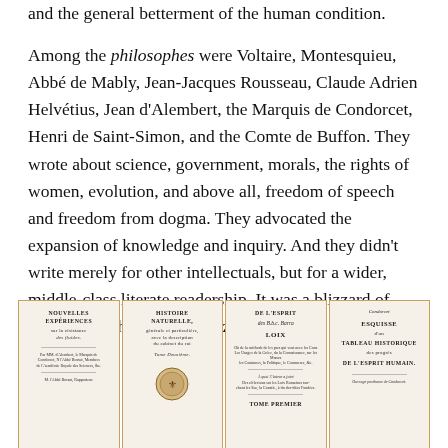and the general betterment of the human condition.
Among the philosophes were Voltaire, Montesquieu, Abbé de Mably, Jean-Jacques Rousseau, Claude Adrien Helvétius, Jean d'Alembert, the Marquis de Condorcet, Henri de Saint-Simon, and the Comte de Buffon. They wrote about science, government, morals, the rights of women, evolution, and above all, freedom of speech and freedom from dogma. They advocated the expansion of knowledge and inquiry. And they didn't write merely for other intellectuals, but for a wider, middle-class literate readership. It was a blizzard of books, pamphlets and magazines.
[Figure (photo): Four historical book covers side by side: 'Nouvelles Expériences sur la Résistance des Fluides', 'Histoire Naturelle, Générale et Particulière, avec la description du Cabinet du Roi, Tome Deuxième', 'De l'Esprit des Loix, Tome Premier', and 'Esquisse d'un Tableau Historique des Progrès de l'Esprit Humain']